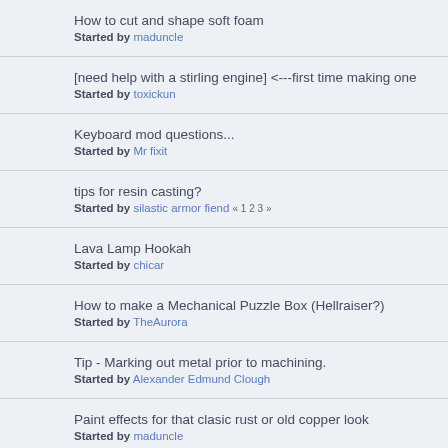How to cut and shape soft foam
Started by maduncle
[need help with a stirling engine] <---first time making one
Started by toxickun
Keyboard mod questions...
Started by Mr fixit
tips for resin casting?
Started by silastic armor fiend « 1 2 3 »
Lava Lamp Hookah
Started by chicar
How to make a Mechanical Puzzle Box (Hellraiser?)
Started by TheAurora
Tip - Marking out metal prior to machining.
Started by Alexander Edmund Clough
Paint effects for that clasic rust or old copper look
Started by maduncle
Removing print from leather?
Started by Torvald_Faust
What is the best paint?
Started by Sonoma_AfterThought